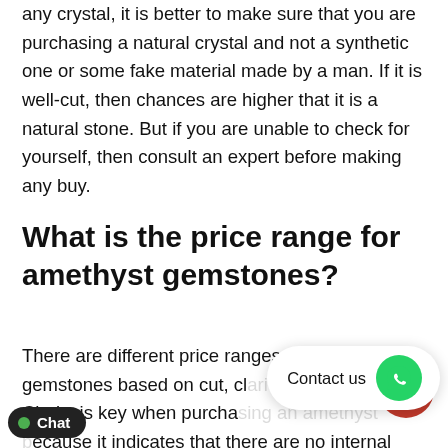any crystal, it is better to make sure that you are purchasing a natural crystal and not a synthetic one or some fake material made by a man. If it is well-cut, then chances are higher that it is a natural stone. But if you are unable to check for yourself, then consult an expert before making any buy.
What is the price range for amethyst gemstones?
There are different price ranges for amethyst gemstones based on cut, clarity, carat, and c... Clarity is key when purchasing an amethyst because it indicates that there are no internal flaws